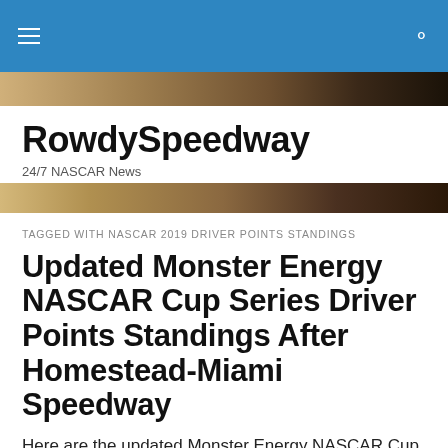RowdySpeedway — 24/7 NASCAR News
TAGGED WITH NASCAR 2019 DRIVER POINTS STANDINGS
Updated Monster Energy NASCAR Cup Series Driver Points Standings After Homestead-Miami Speedway
Here are the updated Monster Energy NASCAR Cup Series driver points standings following Sunday's race at